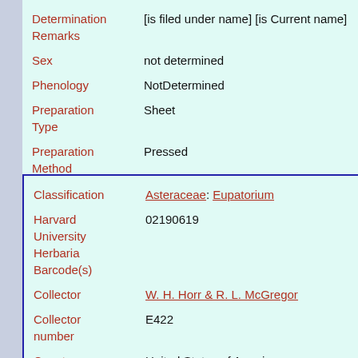| Field | Value |
| --- | --- |
| Determination Remarks | [is filed under name] [is Current name] |
| Sex | not determined |
| Phenology | NotDetermined |
| Preparation Type | Sheet |
| Preparation Method | Pressed |
| Field | Value |
| --- | --- |
| Classification | Asteraceae: Eupatorium |
| Harvard University Herbaria Barcode(s) | 02190619 |
| Collector | W. H. Horr & R. L. McGregor |
| Collector number | E422 |
| Country | United States of America |
| State | Kansas |
| Geography | North America: North America (CA, US, MX) (Region): United States of America: Kansas |